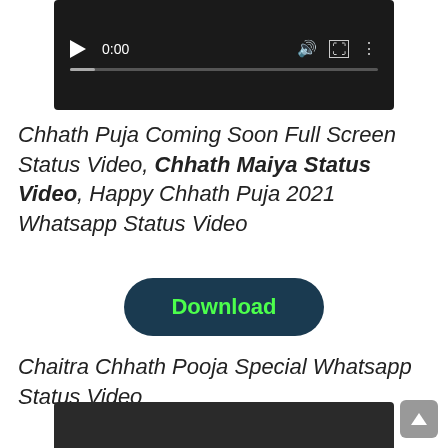[Figure (screenshot): Video player UI with dark background, play button, time showing 0:00, volume icon, fullscreen icon, menu icon, and a progress bar at the bottom]
Chhath Puja Coming Soon Full Screen Status Video, Chhath Maiya Status Video, Happy Chhath Puja 2021 Whatsapp Status Video
[Figure (other): Download button with dark teal rounded rectangle background and green bold text reading 'Download']
Chaitra Chhath Pooja Special Whatsapp Status Video
[Figure (screenshot): Dark video player area partially visible at the bottom of the page]